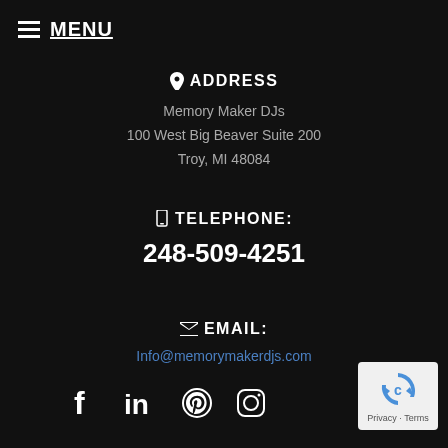≡ MENU
📍 ADDRESS
Memory Maker DJs
100 West Big Beaver Suite 200
Troy, MI 48084
☐ TELEPHONE:
248-509-4251
✉ EMAIL:
Info@memorymakerdjs.com
[Figure (infographic): Social media icons: Facebook, LinkedIn, Pinterest, Instagram]
[Figure (logo): reCAPTCHA widget with Privacy and Terms text]